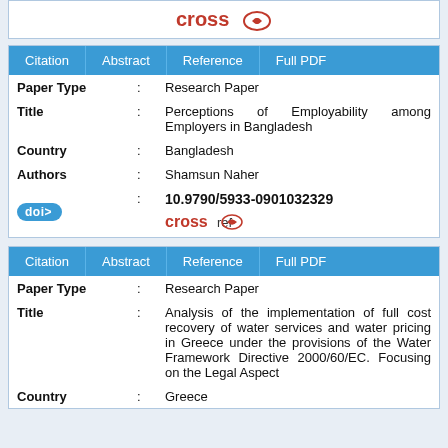[Figure (logo): CrossRef logo at the top of the page]
| Field |  | Value |
| --- | --- | --- |
| Paper Type | : | Research Paper |
| Title | : | Perceptions of Employability among Employers in Bangladesh |
| Country | : | Bangladesh |
| Authors | : | Shamsun Naher |
| doi> | : | 10.9790/5933-0901032329 [crossref logo] |
| Field |  | Value |
| --- | --- | --- |
| Paper Type | : | Research Paper |
| Title | : | Analysis of the implementation of full cost recovery of water services and water pricing in Greece under the provisions of the Water Framework Directive 2000/60/EC. Focusing on the Legal Aspect |
| Country | : | Greece |